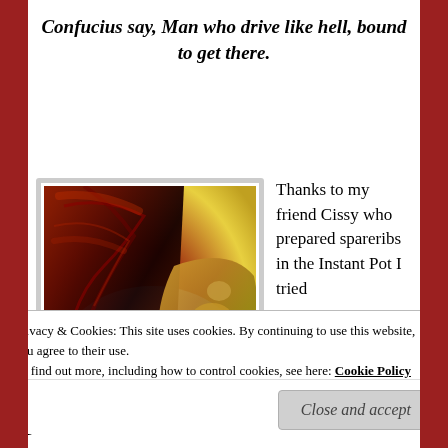Confucius say, Man who drive like hell, bound to get there.
[Figure (photo): Plate of BBQ spareribs with a glazed side dish, on a colorful plate]
Thanks to my friend Cissy who prepared spareribs in the Instant Pot I tried
Privacy & Cookies: This site uses cookies. By continuing to use this website, you agree to their use.
To find out more, including how to control cookies, see here: Cookie Policy
Close and accept
finish them under the broiler on a grill for a bit of